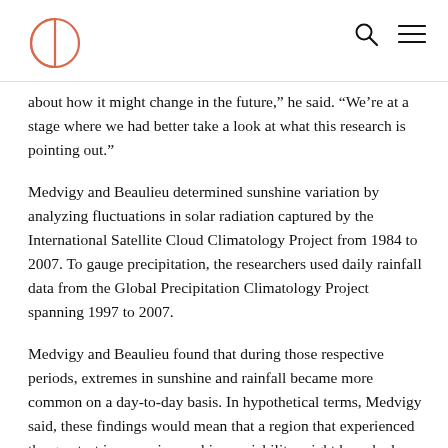CE logo, search icon, menu icon
about how it might change in the future,” he said. “We’re at a stage where we had better take a look at what this research is pointing out.”
Medvigy and Beaulieu determined sunshine variation by analyzing fluctuations in solar radiation captured by the International Satellite Cloud Climatology Project from 1984 to 2007. To gauge precipitation, the researchers used daily rainfall data from the Global Precipitation Climatology Project spanning 1997 to 2007.
Medvigy and Beaulieu found that during those respective periods, extremes in sunshine and rainfall became more common on a day-to-day basis. In hypothetical terms, Medvigy said, these findings would mean that a region that experienced the greatest increase in sunshine variability might have had partly cloudy conditions every day in 1984, but by 2007 the days would have been either sunny or heavily cloudy with no in-between. For